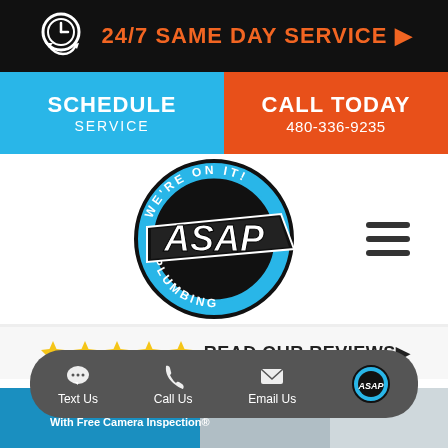24/7 SAME DAY SERVICE ▶
SCHEDULE SERVICE
CALL TODAY 480-336-9235
[Figure (logo): ASAP Plumbing logo — circular badge with 'WE'RE ON IT!' text around the top, 'PLUMBING' around the bottom, and 'ASAP' in bold italic letters across center on a blue and black circular design.]
★★★★★ READ OUR REVIEWS ▶
Text Us  Call Us  Email Us